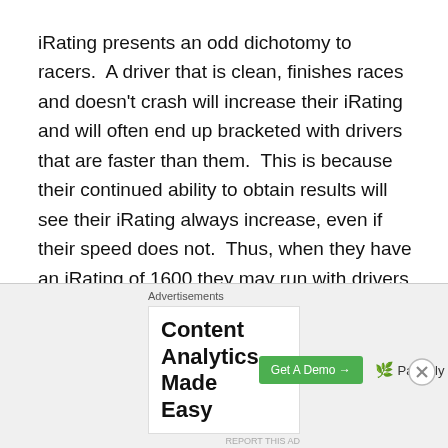iRating presents an odd dichotomy to racers.  A driver that is clean, finishes races and doesn't crash will increase their iRating and will often end up bracketed with drivers that are faster than them.  This is because their continued ability to obtain results will see their iRating always increase, even if their speed does not.  Thus, when they have an iRating of 1600 they may run with drivers of their speed, but when that iRating reaches 2000, they may be bundled into splits where a top five is their best achievable position, given that they are racing with drivers of a certain raw ability.
Paradoxically, a driver that is very fast, perhaps even of
[Figure (other): Advertisement banner: 'Content Analytics Made Easy' with a Get A Demo button and Parse.ly logo]